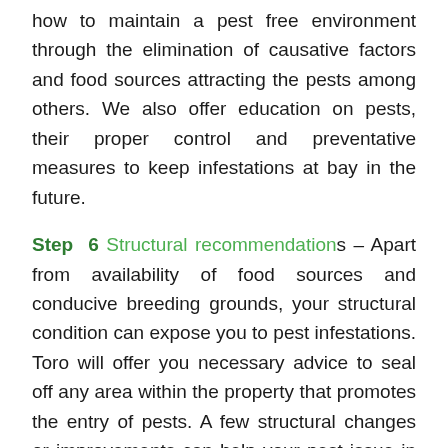how to maintain a pest free environment through the elimination of causative factors and food sources attracting the pests among others. We also offer education on pests, their proper control and preventative measures to keep infestations at bay in the future.
Step 6 Structural recommendations – Apart from availability of food sources and conducive breeding grounds, your structural condition can expose you to pest infestations. Toro will offer you necessary advice to seal off any area within the property that promotes the entry of pests. A few structural changes or improvements can help your pest issue in the long run.